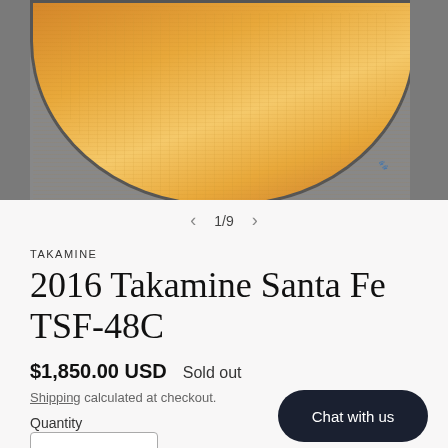[Figure (photo): Close-up photo of an acoustic guitar body top showing warm golden-orange spruce wood with visible grain, on grey surface. Guitar has dark binding around the edges.]
1/9
TAKAMINE
2016 Takamine Santa Fe TSF-48C
$1,850.00 USD   Sold out
Shipping calculated at checkout.
Quantity
Chat with us